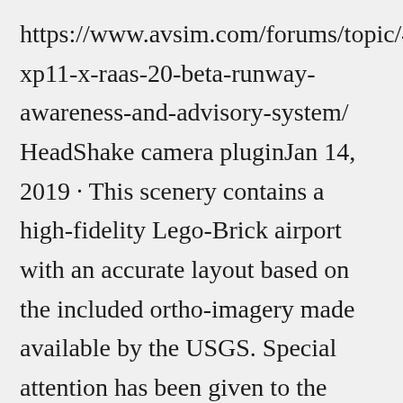https://www.avsim.com/forums/topic/499184-xp11-x-raas-20-beta-runway-awareness-and-advisory-system/ HeadShake camera pluginJan 14, 2019 · This scenery contains a high-fidelity Lego-Brick airport with an accurate layout based on the included ortho-imagery made available by the USGS. Special attention has been given to the operational aspect, meaning that all gates and ground markings are in the exact place and should be at or edit ... within X...